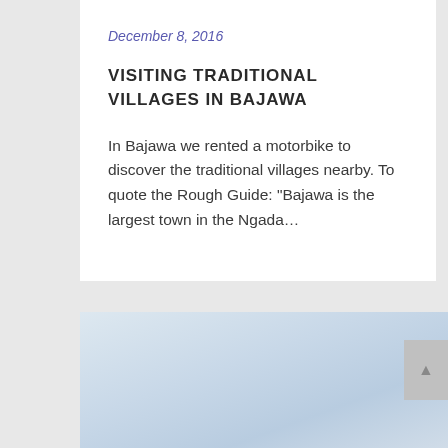December 8, 2016
VISITING TRADITIONAL VILLAGES IN BAJAWA
In Bajawa we rented a motorbike to discover the traditional villages nearby. To quote the Rough Guide: "Bajawa is the largest town in the Ngada…
[Figure (photo): Photo with light blue/grey sky gradient background, partially visible image of Bajawa region]